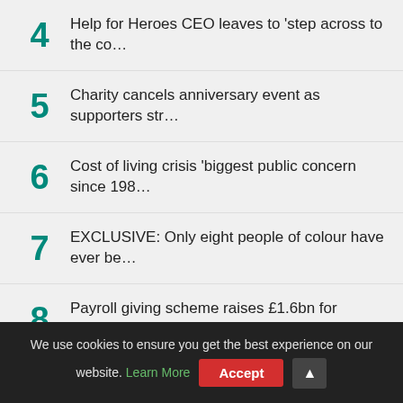4 Help for Heroes CEO leaves to 'step across to the co…
5 Charity cancels anniversary event as supporters str…
6 Cost of living crisis 'biggest public concern since 198…
7 EXCLUSIVE: Only eight people of colour have ever be…
8 Payroll giving scheme raises £1.6bn for charities
9 Best banks for charities revealed
10 Regulator closes charity run by three brothers follow…
We use cookies to ensure you get the best experience on our website. Learn More Accept